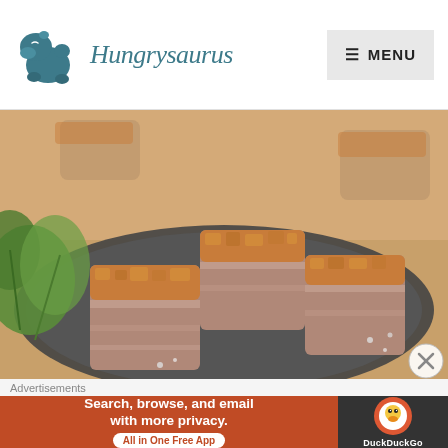[Figure (logo): Hungrysaurus logo with teal dinosaur/rhino character and cursive brand name in teal]
[Figure (photo): Food photography showing crispy pork belly pieces with crackling skin on a dark plate, garnished with fresh cilantro, on a wooden board background]
Advertisements
[Figure (screenshot): DuckDuckGo advertisement banner: 'Search, browse, and email with more privacy. All in One Free App' with DuckDuckGo logo on dark right panel]